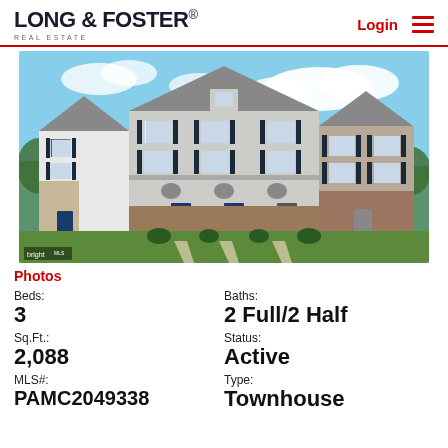LONG & FOSTER® REAL ESTATE — Login
[Figure (photo): Exterior photo of a row of three-story townhouses with blue shutters, brick and siding facade, manicured lawn, and blue sky with clouds. Bright MLS watermark in bottom left.]
Photos
Beds: 3
Baths: 2 Full/2 Half
Sq.Ft.: 2,088
Status: Active
MLS#: PAMC2049338
Type: Townhouse